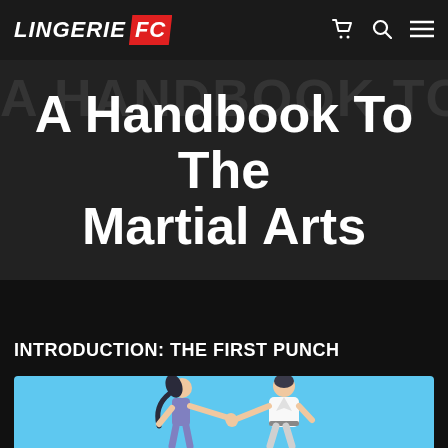LINGERIE FC
A Handbook To The Martial Arts
INTRODUCTION: THE FIRST PUNCH
[Figure (illustration): Cartoon illustration of two martial arts practitioners on a light blue background — a woman with a ponytail in a purple outfit throwing a punch at a man in a white gi who is deflecting.]